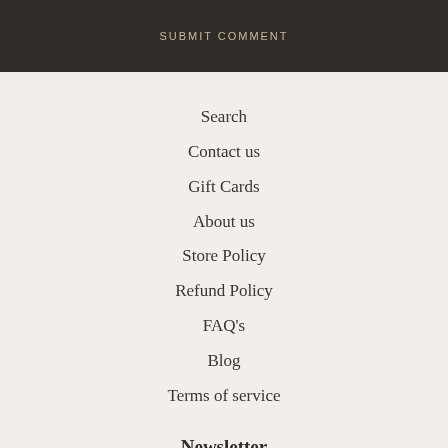SUBMIT COMMENT
Search
Contact us
Gift Cards
About us
Store Policy
Refund Policy
FAQ's
Blog
Terms of service
Newsletter